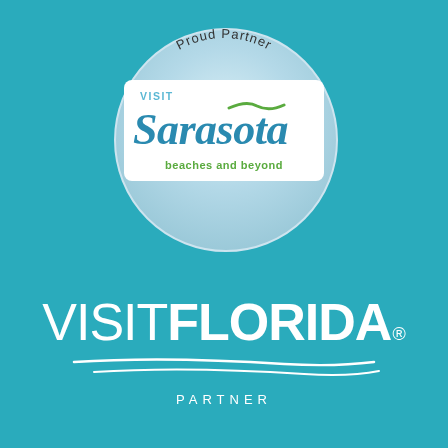[Figure (logo): Visit Sarasota 'Proud Partner / Visit Sarasota County' circular badge with white rectangle logo box containing 'VISIT Sarasota beaches and beyond' text and wave graphic]
[Figure (logo): VISIT FLORIDA® Partner logo in white text on teal background with swoosh underline and PARTNER text below]